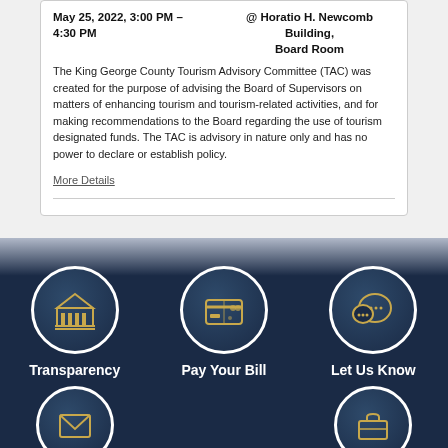May 25, 2022, 3:00 PM – 4:30 PM @ Horatio H. Newcomb Building, Board Room
The King George County Tourism Advisory Committee (TAC) was created for the purpose of advising the Board of Supervisors on matters of enhancing tourism and tourism-related activities, and for making recommendations to the Board regarding the use of tourism designated funds. The TAC is advisory in nature only and has no power to declare or establish policy.
More Details
[Figure (infographic): Three circular icon buttons on a dark navy background: Transparency (courthouse/building icon), Pay Your Bill (credit card icon), Let Us Know (speech bubble icon). Below, two more partially visible circular icons: an envelope and a briefcase.]